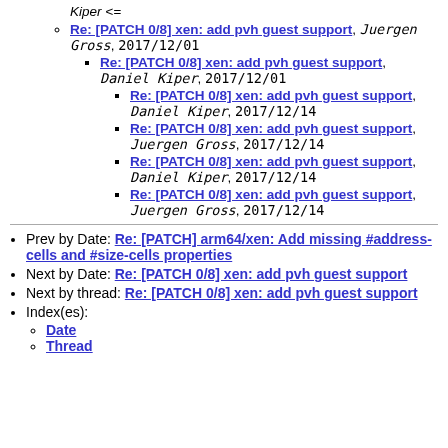Kiper <=
Re: [PATCH 0/8] xen: add pvh guest support, Juergen Gross, 2017/12/01
Re: [PATCH 0/8] xen: add pvh guest support, Daniel Kiper, 2017/12/01
Re: [PATCH 0/8] xen: add pvh guest support, Daniel Kiper, 2017/12/14
Re: [PATCH 0/8] xen: add pvh guest support, Juergen Gross, 2017/12/14
Re: [PATCH 0/8] xen: add pvh guest support, Daniel Kiper, 2017/12/14
Re: [PATCH 0/8] xen: add pvh guest support, Juergen Gross, 2017/12/14
Prev by Date: Re: [PATCH] arm64/xen: Add missing #address-cells and #size-cells properties
Next by Date: Re: [PATCH 0/8] xen: add pvh guest support
Next by thread: Re: [PATCH 0/8] xen: add pvh guest support
Index(es): Date, Thread